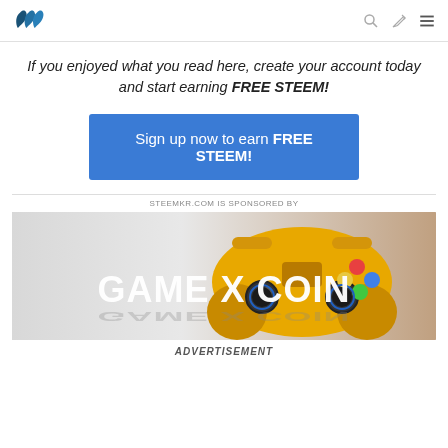Steemit logo, search icon, edit icon, menu icon
If you enjoyed what you read here, create your account today and start earning FREE STEEM!
Sign up now to earn FREE STEEM!
STEEMKR.COM IS SPONSORED BY
[Figure (photo): Game X Coin advertisement banner featuring a yellow gaming controller with colorful buttons and bold white text reading GAME X COIN]
ADVERTISEMENT